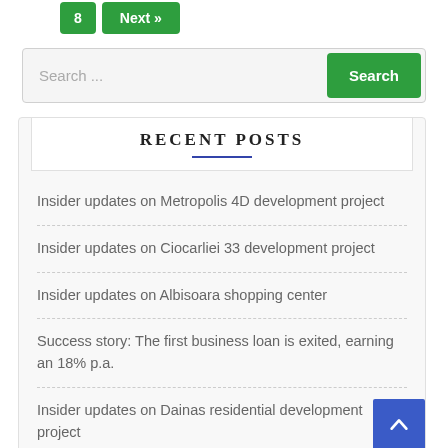8
Next »
Search ...
RECENT POSTS
Insider updates on Metropolis 4D development project
Insider updates on Ciocarliei 33 development project
Insider updates on Albisoara shopping center
Success story: The first business loan is exited, earning an 18% p.a.
Insider updates on Dainas residential development project